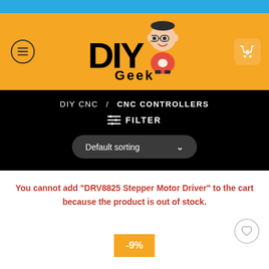DIY Geek - Blue top bar
[Figure (logo): DIY Geek logo with orange background, cartoon character with glasses, menu button on left, cart button with 0 on right]
DIY CNC / CNC CONTROLLERS
FILTER
Default sorting
You cannot add "DRV8825 Stepper Motor Driver" to the cart because the product is out of stock.
-9%